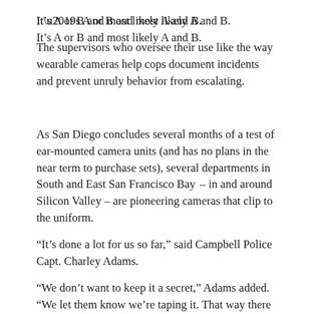It’s A or B and most likely A and B.
The supervisors who oversee their use like the way wearable cameras help cops document incidents and prevent unruly behavior from escalating.
As San Diego concludes several months of a test of ear-mounted camera units (and has no plans in the near term to purchase sets), several departments in South and East San Francisco Bay – in and around Silicon Valley – are pioneering cameras that clip to the uniform.
“It’s done a lot for us so far,” said Campbell Police Capt. Charley Adams.
“We don’t want to keep it a secret,” Adams added. “We let them know we’re taping it. That way there are no false accusations on either side. It improves everyone’s behavior.”
Campbell purchased 31 camera units and began using them in June.
The city has a policy for the use of recording devices that states officers